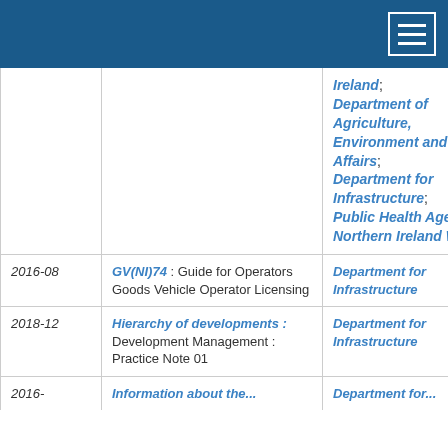| Year | Document | Organisation |
| --- | --- | --- |
|  |  | Ireland; Department of Agriculture, Environment and Rural Affairs; Department for Infrastructure; Public Health Agency; Northern Ireland Water |
| 2016-08 | GV(NI)74 : Guide for Operators Goods Vehicle Operator Licensing | Department for Infrastructure |
| 2018-12 | Hierarchy of developments : Development Management : Practice Note 01 | Department for Infrastructure |
| 2016- | Information about the... | Department for... |